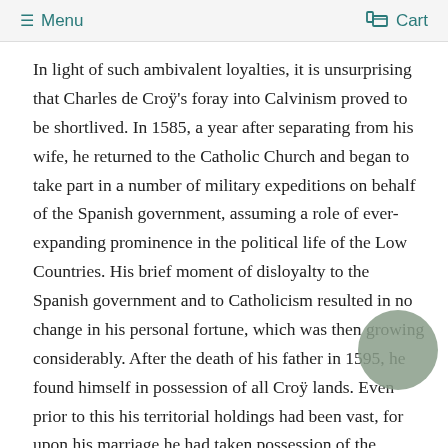≡ Menu  🛒 Cart
In light of such ambivalent loyalties, it is unsurprising that Charles de Croÿ's foray into Calvinism proved to be shortlived. In 1585, a year after separating from his wife, he returned to the Catholic Church and began to take part in a number of military expeditions on behalf of the Spanish government, assuming a role of ever-expanding prominence in the political life of the Low Countries. His brief moment of disloyalty to the Spanish government and to Catholicism resulted in no change in his personal fortune, which was then growing considerably. After the death of his father in 1595, he found himself in possession of all Croÿ lands. Even prior to this his territorial holdings had been vast, for upon his marriage he had taken possession of the principality of Chimay, and after the death of his mother in 1581 he inherited the entire patrimony of the Comines-Halluin